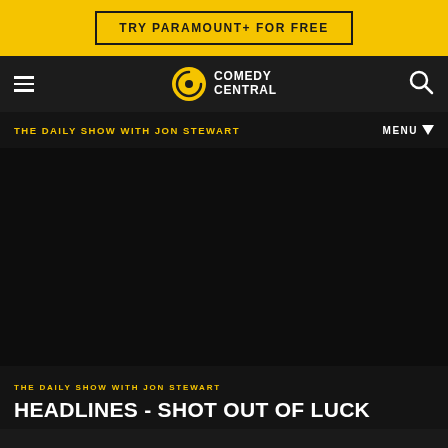TRY PARAMOUNT+ FOR FREE
[Figure (logo): Comedy Central logo with hamburger menu on left and search icon on right in dark navigation bar]
THE DAILY SHOW WITH JON STEWART
MENU
[Figure (screenshot): Dark video player area, mostly black]
THE DAILY SHOW WITH JON STEWART
HEADLINES - SHOT OUT OF LUCK